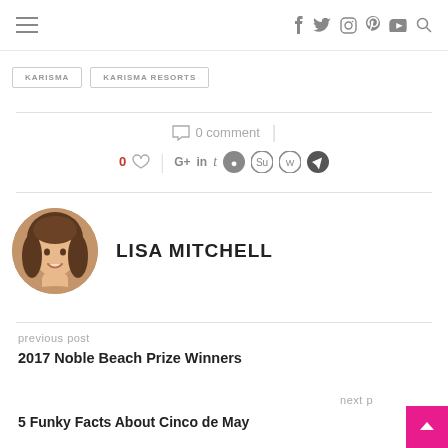Navigation bar with hamburger menu and social icons (f, twitter, instagram, pinterest, youtube, search)
KARISMA
KARISMA RESORTS
0 comment
0 likes, share icons: G+, in, t, reddit, stumbleupon, whatsapp, telegram
[Figure (photo): Circular portrait photo of Lisa Mitchell, a woman with curly brown hair, smiling]
LISA MITCHELL
previous post
2017 Noble Beach Prize Winners
next p
5 Funky Facts About Cinco de May...